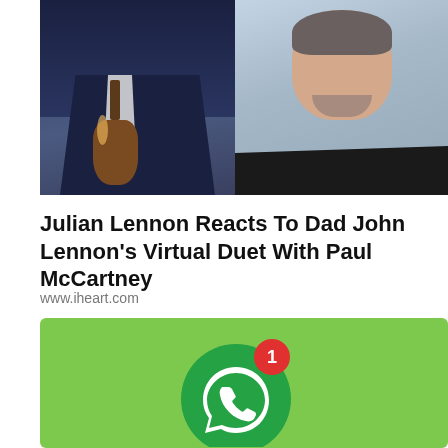[Figure (photo): Two photos side by side: left shows a man in a suit playing a bass guitar on stage, right shows a man with short hair and beard wearing a black shirt]
Julian Lennon Reacts To Dad John Lennon's Virtual Duet With Paul McCartney
www.iheart.com
[Figure (illustration): Green background with a large green WhatsApp-style icon/logo in the center, with a red notification badge showing the number 1]